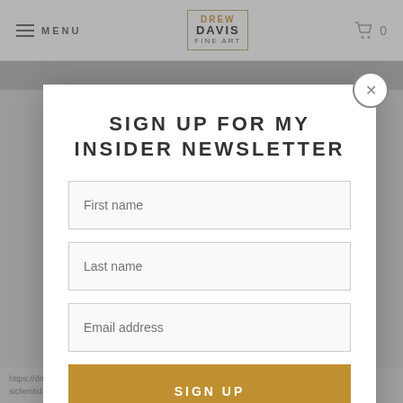MENU  |  DREW DAVIS FINE ART  |  Cart 0
[Figure (screenshot): Newsletter signup modal popup on Drew Davis Fine Art website. Modal contains title 'SIGN UP FOR MY INSIDER NEWSLETTER', three input fields (First name, Last name, Email address), and a gold 'SIGN UP' button. Background shows dimmed website content.]
SIGN UP FOR MY INSIDER NEWSLETTER
First name
Last name
Email address
SIGN UP
https://dms.netmng.com/si/cm/tracking/clickredirect.as
siclientid=4712&joetrid=6.271153&redirecturl=https